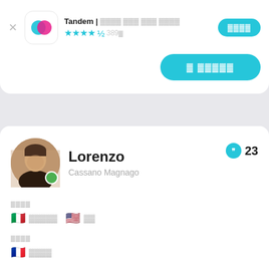[Figure (screenshot): Tandem app icon with overlapping teal and pink circles on white rounded square background]
Tandem | ®®®® ®®® ®®® ®®®®
★★★★½ 389®
® ®®®®®
Lorenzo
Cassano Magnago
23
®®®®
®®®®® ®®
®®®®
®®®®